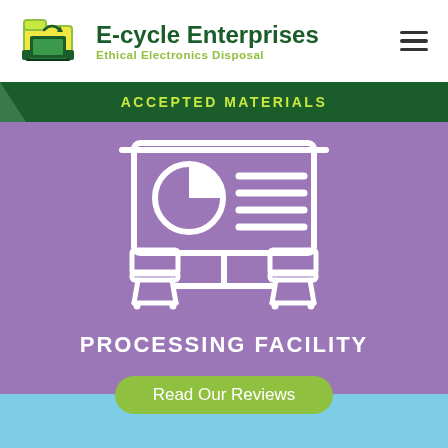[Figure (logo): E-cycle Enterprises logo with laptop and recycling folder icon]
E-cycle Enterprises
Ethical Electronics Disposal
ACCEPTED MATERIALS
[Figure (illustration): White outline icon of a presentation board with pie chart and bar lines, with two chairs in front, on purple background]
PROCESSING FACILITY
Read Our Reviews